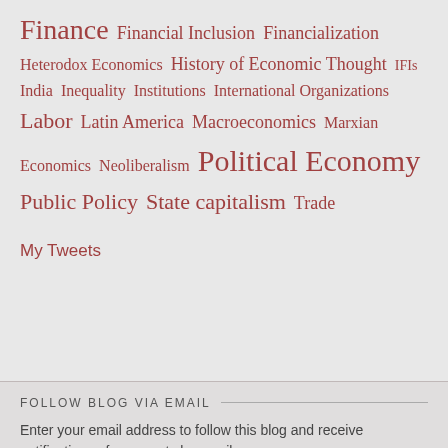Finance  Financial Inclusion  Financialization  Heterodox Economics  History of Economic Thought  IFIs  India  Inequality  Institutions  International Organizations  Labor  Latin America  Macroeconomics  Marxian Economics  Neoliberalism  Political Economy  Public Policy  State capitalism  Trade
My Tweets
FOLLOW BLOG VIA EMAIL
Enter your email address to follow this blog and receive notifications of new posts by email.